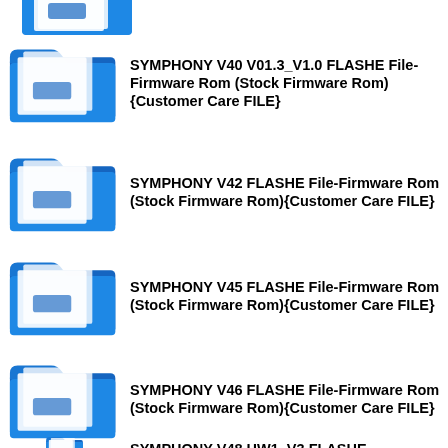[Figure (illustration): Blue folder icon, partially visible at top]
SYMPHONY V40 V01.3_V1.0 FLASHE File-Firmware Rom (Stock Firmware Rom){Customer Care FILE}
SYMPHONY V42 FLASHE File-Firmware Rom (Stock Firmware Rom){Customer Care FILE}
SYMPHONY V45 FLASHE File-Firmware Rom (Stock Firmware Rom){Customer Care FILE}
SYMPHONY V46 FLASHE File-Firmware Rom (Stock Firmware Rom){Customer Care FILE}
SYMPHONY V48 HW1_V3 FLASHE